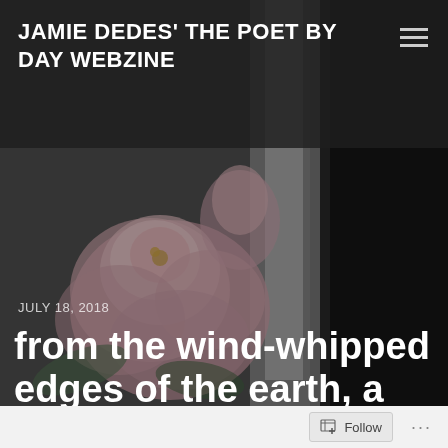[Figure (photo): Background photo of pink roses/flowers with blurred dark background, with a white candle or column visible on the right side. The image is darkened with an overlay.]
JAMIE DEDES' THE POET BY DAY WEBZINE
JULY 18, 2018
from the wind-whipped edges of the earth, a poem .... and your Wednesday Writing